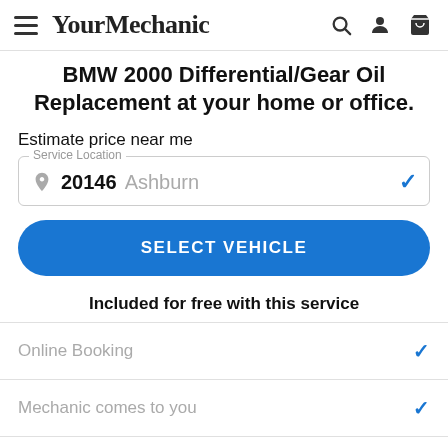YourMechanic
BMW 2000 Differential/Gear Oil Replacement at your home or office.
Estimate price near me
Service Location: 20146 Ashburn
SELECT VEHICLE
Included for free with this service
Online Booking
Mechanic comes to you